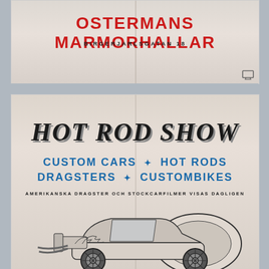[Figure (photo): Top portion of a vintage Swedish poster showing 'OSTERMANS MARMORHALLAR' in large red letters and 'BIRGERJARLSGATAN 18' in black below, on a cream/beige folded paper background.]
[Figure (photo): Bottom portion of a vintage Hot Rod Show poster. Title 'HOT ROD SHOW' in large decorative black serif letters. Below: 'CUSTOM CARS * HOT RODS' and 'DRAGSTERS * CUSTOMBIKES' in bold blue. Text 'AMERIKANSKA DRAGSTER OCH STOCKCARFILMER VISAS DAGLIGEN' in small black capitals. Lower half shows an illustrated hot rod car with flame decorations.]